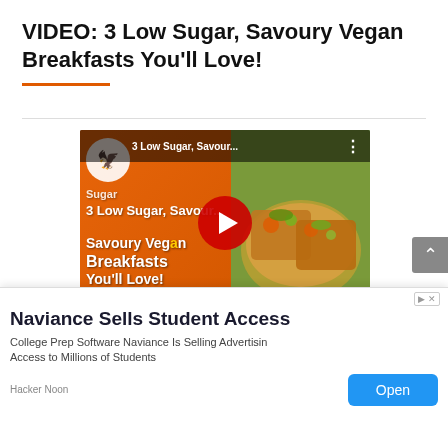VIDEO: 3 Low Sugar, Savoury Vegan Breakfasts You'll Love!
[Figure (screenshot): YouTube video thumbnail showing '3 Low Sugar, Savour...' with a channel logo (orange phoenix), bold white text on orange background reading 'Savoury Vegan Breakfasts You'll Love!', a red YouTube play button in the center, and food (toast with toppings) on the right side.]
[Figure (screenshot): Cookie consent bar with text 'We use cookies to ensure that we give you the best experience on']
[Figure (screenshot): Advertisement banner: 'Naviance Sells Student Access' with body text 'College Prep Software Naviance Is Selling Advertising Access to Millions of Students' from Hacker Noon, with an Open button.]